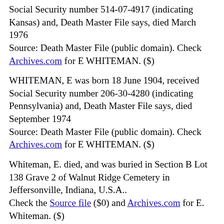Social Security number 514-07-4917 (indicating Kansas) and, Death Master File says, died March 1976
Source: Death Master File (public domain). Check Archives.com for E WHITEMAN. ($)
WHITEMAN, E was born 18 June 1904, received Social Security number 206-30-4280 (indicating Pennsylvania) and, Death Master File says, died September 1974
Source: Death Master File (public domain). Check Archives.com for E WHITEMAN. ($)
Whiteman, E. died, and was buried in Section B Lot 138 Grave 2 of Walnut Ridge Cemetery in Jeffersonville, Indiana, U.S.A..
Check the Source file ($0) and Archives.com for E. Whiteman. ($)
WHITEMAN, E A. was born 1 February 1923, received Social Security number 096-16-5604 (indicating New York) and, Death Master File says, died 17 September